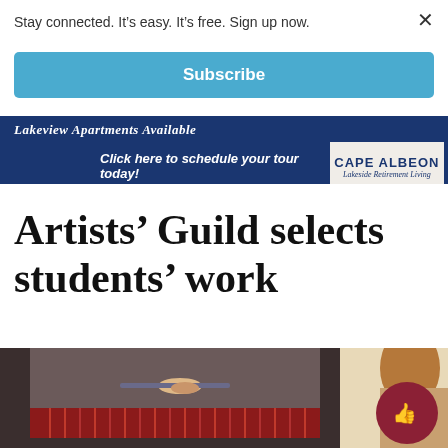Stay connected. It's easy. It's free. Sign up now.
Subscribe
[Figure (photo): Advertisement banner for Cape Albeon Lakeside Retirement Living – Lakeview Apartments Available. Click here to schedule your tour today!]
Artists’ Guild selects students’ work
[Figure (photo): Photo showing a framed artwork with red fringe and a hand holding a tool, alongside a person with brown hair partially visible on the right side.]